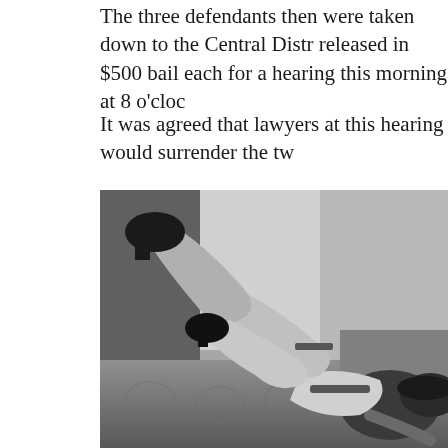The three defendants then were taken down to the Central District released in $500 bail each for a hearing this morning at 8 o'cloc
It was agreed that lawyers at this hearing would surrender the tw
[Figure (photo): Black and white photograph of a person in lingerie lying on a sofa/couch, legs raised, wearing high heels and stockings with garters]